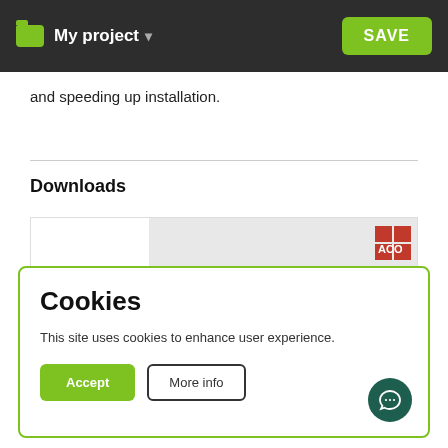My project  SAVE
and speeding up installation.
Downloads
[Figure (screenshot): Thumbnail preview of an ACO Water Management document]
Cookies
This site uses cookies to enhance user experience.
Accept   More info